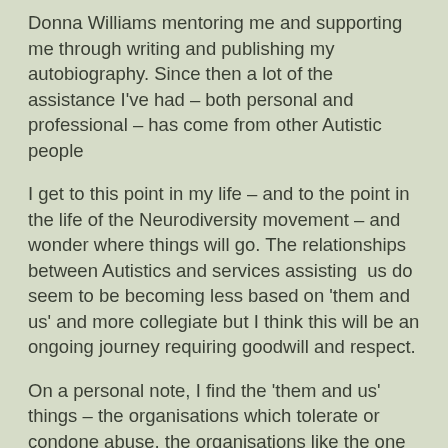Donna Williams mentoring me and supporting me through writing and publishing my autobiography. Since then a lot of the assistance I've had – both personal and professional – has come from other Autistic people
I get to this point in my life – and to the point in the life of the Neurodiversity movement – and wonder where things will go. The relationships between Autistics and services assisting  us do seem to be becoming less based on 'them and us' and more collegiate but I think this will be an ongoing journey requiring goodwill and respect.
On a personal note, I find the 'them and us' things – the organisations which tolerate or condone abuse, the organisations like the one which offered me a speaking opportunity but stated they could not pay me anything, not even my airfare and accommodation, because they were paying a non-autistic keynote several thousand dollars and had no funds left for me. I don't want the crumbs that fall from the table – I want the whole enchilada, inclusion and respect wise!. In order to get